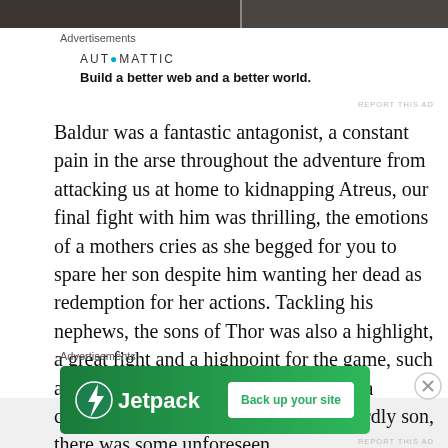[Figure (photo): Dark image strip at the top of the page showing partial photo]
Advertisements
[Figure (logo): AUTOMATTIC logo with tagline: Build a better web and a better world.]
REPORT THIS AD
Baldur was a fantastic antagonist, a constant pain in the arse throughout the adventure from attacking us at home to kidnapping Atreus, our final fight with him was thrilling, the emotions of a mothers cries as she begged for you to spare her son despite him wanting her dead as redemption for her actions. Tackling his nephews, the sons of Thor was also a highlight, a great fight and a highpoint for the game, such a shame that one of them proved to be a coward, Thor could never have a cowardly son, there was some unforeseen
Advertisements
[Figure (infographic): Jetpack advertisement banner: green background with Jetpack logo and Back up your site button]